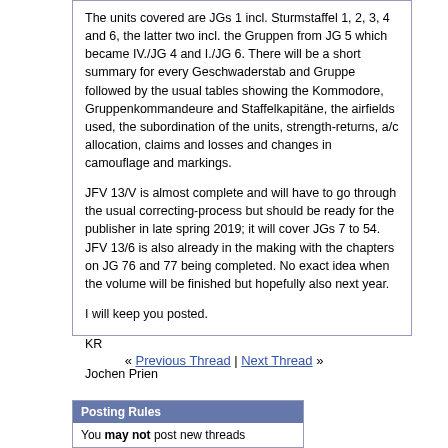The units covered are JGs 1 incl. Sturmstaffel 1, 2, 3, 4 and 6, the latter two incl. the Gruppen from JG 5 which became IV./JG 4 and I./JG 6. There will be a short summary for every Geschwaderstab and Gruppe followed by the usual tables showing the Kommodore, Gruppenkommandeure and Staffelkapitäne, the airfields used, the subordination of the units, strength-returns, a/c allocation, claims and losses and changes in camouflage and markings.
JFV 13/V is almost complete and will have to go through the usual correcting-process but should be ready for the publisher in late spring 2019; it will cover JGs 7 to 54. JFV 13/6 is also already in the making with the chapters on JG 76 and 77 being completed. No exact idea when the volume will be finished but hopefully also next year.
I will keep you posted.
KR
Jochen Prien
« Previous Thread | Next Thread »
Posting Rules
You may not post new threads